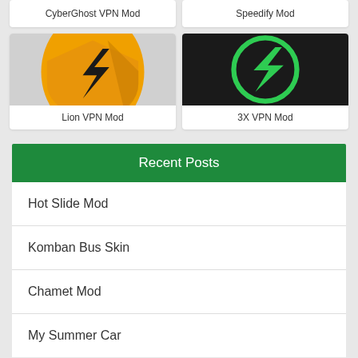CyberGhost VPN Mod
Speedify Mod
[Figure (illustration): Lion VPN app icon: orange shield with black lightning bolt on dark background]
Lion VPN Mod
[Figure (illustration): 3X VPN app icon: black background with green circle and green lightning bolt]
3X VPN Mod
Recent Posts
Hot Slide Mod
Komban Bus Skin
Chamet Mod
My Summer Car